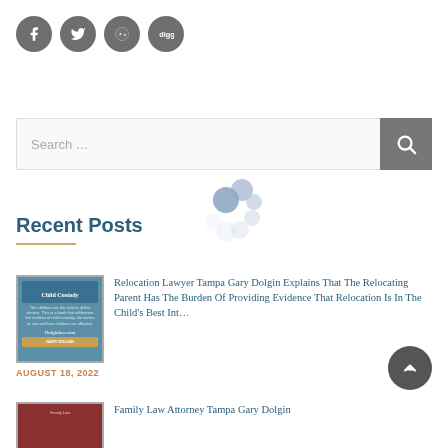[Figure (infographic): Social sharing icons: Facebook (f), Twitter (bird), Reddit, Digg — four dark gray circular buttons]
[Figure (infographic): Search bar with placeholder text 'Search ...' and a dark gray search button with magnifying glass icon]
[Figure (infographic): Loading spinner animation — cluster of light blue/gray circles in a circular arrangement]
Recent Posts
[Figure (photo): Thumbnail of a Child Custody book cover with blue background]
Relocation Lawyer Tampa Gary Dolgin Explains That The Relocating Parent Has The Burden Of Providing Evidence That Relocation Is In The Child's Best Int…
AUGUST 18, 2022
[Figure (photo): Thumbnail of a red-covered family law book]
Family Law Attorney Tampa Gary Dolgin